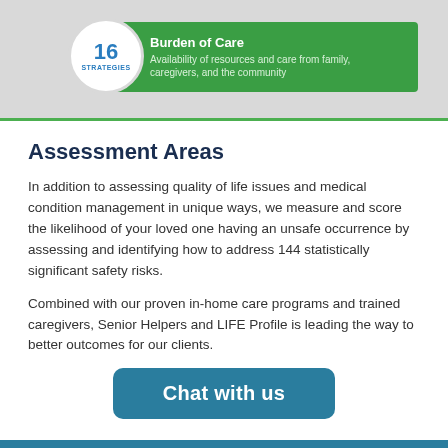[Figure (infographic): Green banner with circular badge showing '16 STRATEGIES' and text 'Burden of Care – Availability of resources and care from family, caregivers, and the community']
Assessment Areas
In addition to assessing quality of life issues and medical condition management in unique ways, we measure and score the likelihood of your loved one having an unsafe occurrence by assessing and identifying how to address 144 statistically significant safety risks.
Combined with our proven in-home care programs and trained caregivers, Senior Helpers and LIFE Profile is leading the way to better outcomes for our clients.
Chat with us